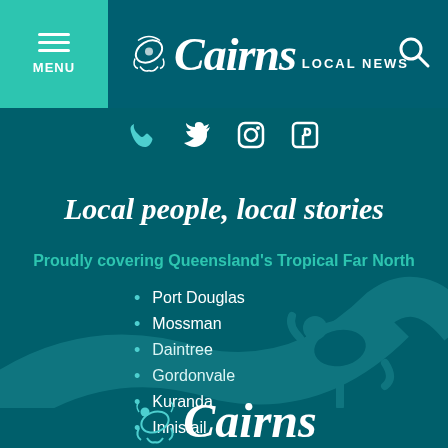Cairns Local News — MENU header with search icon
[Figure (logo): Cairns Local News logo with stylized cursive Cairns text and LOCAL NEWS subtitle, with decorative turtle/leaf motif]
Phone, Twitter, Instagram, Facebook social media icons
Local people, local stories
Proudly covering Queensland's Tropical Far North
Port Douglas
Mossman
Daintree
Gordonvale
Kuranda
Innisfail
[Figure (logo): Cairns logo at bottom with sea turtle illustration]